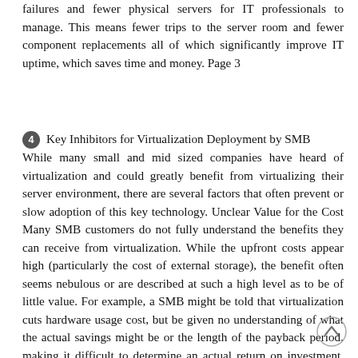failures and fewer physical servers for IT professionals to manage. This means fewer trips to the server room and fewer component replacements all of which significantly improve IT uptime, which saves time and money. Page 3
4 Key Inhibitors for Virtualization Deployment by SMB While many small and mid sized companies have heard of virtualization and could greatly benefit from virtualizing their server environment, there are several factors that often prevent or slow adoption of this key technology. Unclear Value for the Cost Many SMB customers do not fully understand the benefits they can receive from virtualization. While the upfront costs appear high (particularly the cost of external storage), the benefit often seems nebulous or are described at such a high level as to be of little value. For example, a SMB might be told that virtualization cuts hardware usage cost, but be given no understanding of what the actual savings might be or the length of the payback period, making it difficult to determine an actual return on investment. For SMB customers, providing a clear and simple ROI statement is vital to clearing this hurdle. Industry Noise Since virtualization is a relatively new technology, there are many